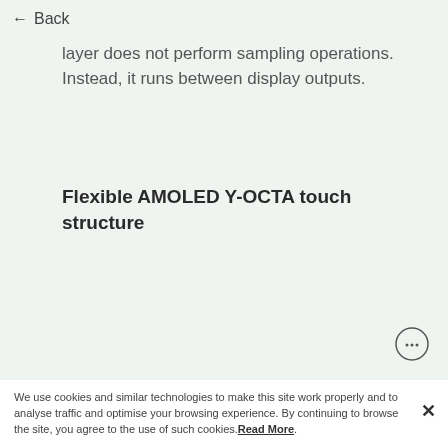← Back
layer does not perform sampling operations. Instead, it runs between display outputs.
Flexible AMOLED Y-OCTA touch structure
[Figure (illustration): Small circular chat/support icon with ellipsis face]
We use cookies and similar technologies to make this site work properly and to analyse traffic and optimise your browsing experience. By continuing to browse the site, you agree to the use of such cookies. Read More.